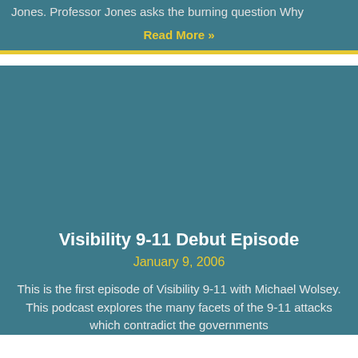Jones. Professor Jones asks the burning question  Why
Read More »
[Figure (other): Large teal/dark cyan colored image placeholder area for the Visibility 9-11 Debut Episode card]
Visibility 9-11 Debut Episode
January 9, 2006
This is the first episode of Visibility 9-11 with Michael Wolsey. This podcast explores the many facets of the 9-11 attacks which contradict the governments